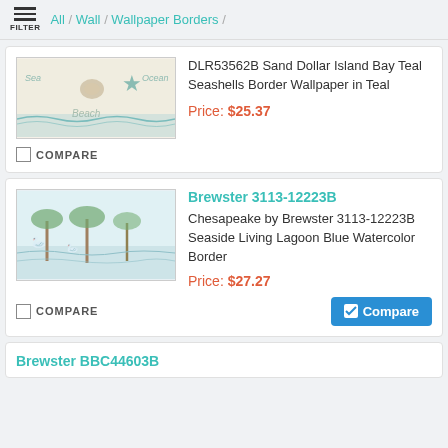FILTER / All / Wall / Wallpaper Borders /
[Figure (screenshot): Product thumbnail: Sand Dollar Island Bay Teal Seashells Border Wallpaper showing ocean theme with sea horses, starfish, shells on beige/teal background]
DLR53562B Sand Dollar Island Bay Teal Seashells Border Wallpaper in Teal
Price: $25.37
COMPARE
Brewster 3113-12223B
[Figure (screenshot): Product thumbnail: Seaside Living Lagoon Blue Watercolor Border showing tropical scene with palm trees, cranes/herons, blue watercolor style]
Chesapeake by Brewster 3113-12223B Seaside Living Lagoon Blue Watercolor Border
Price: $27.27
COMPARE
Compare
Brewster BBC44603B